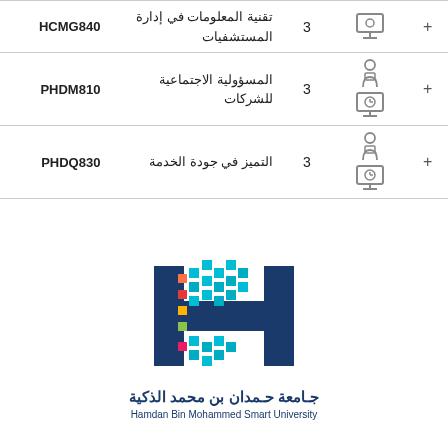| Code | Name | Credits | Icons | Plus |
| --- | --- | --- | --- | --- |
| HCMG840 | تقنية المعلومات في إدارة المستشفيات | 3 |  | + |
| PHDM810 | المسؤولية الاجتماعية للشركات | 3 |  | + |
| PHDQ830 | التميز في جودة الخدمة | 3 |  | + |
[Figure (logo): Hamdan Bin Mohammed Smart University logo with pixelated H letter in blue and colorful dots, Arabic and English name below]